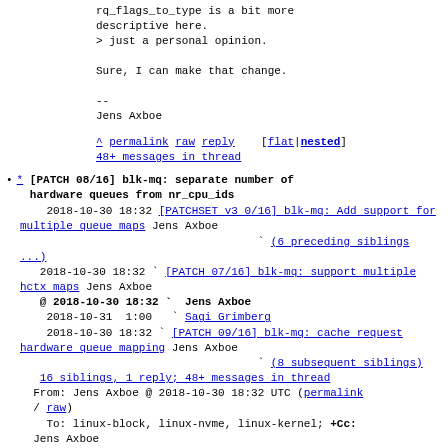rq_flags_to_type is a bit more descriptive here.
> just a personal opinion.

Sure, I can make that change.

--
Jens Axboe
^ permalink raw reply [flat|nested]
48+ messages in thread
* [PATCH 08/16] blk-mq: separate number of hardware queues from nr_cpu_ids
2018-10-30 18:32 [PATCHSET v3 0/16] blk-mq: Add support for multiple queue maps Jens Axboe
` (6 preceding siblings ...)
2018-10-30 18:32 ` [PATCH 07/16] blk-mq: support multiple hctx maps Jens Axboe
@ 2018-10-30 18:32 ` Jens Axboe
2018-10-31  1:00 ` Sagi Grimberg
2018-10-30 18:32 ` [PATCH 09/16] blk-mq: cache request hardware queue mapping Jens Axboe
` (8 subsequent siblings)
16 siblings, 1 reply; 48+ messages in thread
From: Jens Axboe @ 2018-10-30 18:32 UTC (permalink / raw)
To: linux-block, linux-nvme, linux-kernel; +Cc: Jens Axboe